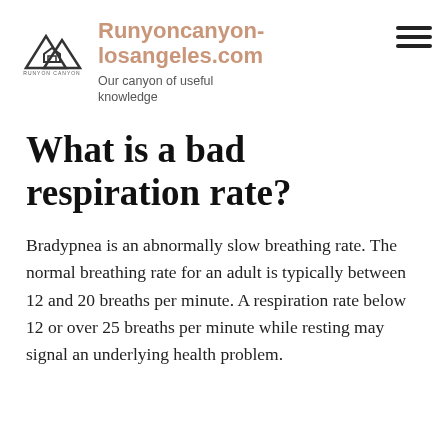Runyoncanyon-losangeles.com
Our canyon of useful knowledge
What is a bad respiration rate?
Bradypnea is an abnormally slow breathing rate. The normal breathing rate for an adult is typically between 12 and 20 breaths per minute. A respiration rate below 12 or over 25 breaths per minute while resting may signal an underlying health problem.